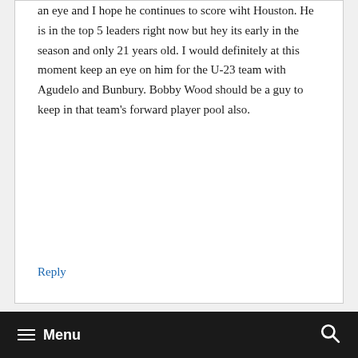an eye and I hope he continues to score wiht Houston. He is in the top 5 leaders right now but hey its early in the season and only 21 years old. I would definitely at this moment keep an eye on him for the U-23 team with Agudelo and Bunbury. Bobby Wood should be a guy to keep in that team's forward player pool also.
Reply
≡ Menu  🔍